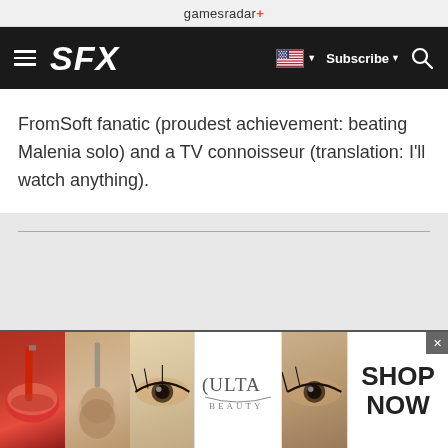gamesradar+
[Figure (screenshot): SFX website navigation bar with hamburger menu, SFX logo, US flag dropdown, Subscribe button, and search icon on black background]
FromSoft fanatic (proudest achievement: beating Malenia solo) and a TV connoisseur (translation: I'll watch anything).
[Figure (photo): Ulta Beauty advertisement banner showing makeup closeup images (lips with lipstick, makeup brush, eye with makeup) alongside Ulta Beauty logo and SHOP NOW text]